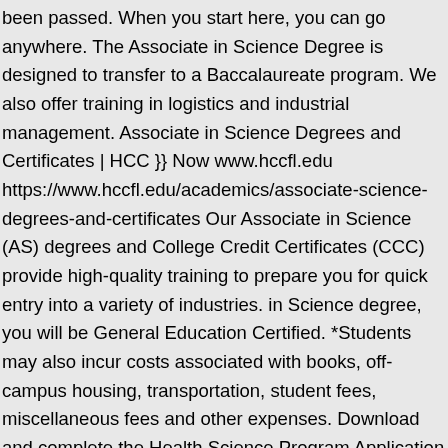been passed. When you start here, you can go anywhere. The Associate in Science Degree is designed to transfer to a Baccalaureate program. We also offer training in logistics and industrial management. Associate in Science Degrees and Certificates | HCC }} Now www.hccfl.edu https://www.hccfl.edu/academics/associate-science-degrees-and-certificates Our Associate in Science (AS) degrees and College Credit Certificates (CCC) provide high-quality training to prepare you for quick entry into a variety of industries. in Science degree, you will be General Education Certified. *Students may also incur costs associated with books, off-campus housing, transportation, student fees, miscellaneous fees and other expenses. Download and complete the Health Science Program Application and submit to the Health Sciences Admissions Dropbox which is located on the Dale Mabry Campus, Student Services Building, room 119. Associate in Science Degrees (AS) are awarded to students who complete technical programs. Many CCCs serve as foundations to AS degrees, and some AS degrees